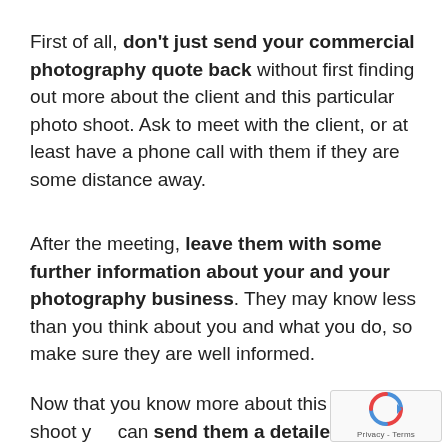First of all, don't just send your commercial photography quote back without first finding out more about the client and this particular photo shoot. Ask to meet with the client, or at least have a phone call with them if they are some distance away.
After the meeting, leave them with some further information about your and your photography business. They may know less than you think about you and what you do, so make sure they are well informed.
Now that you know more about this photo shoot you can send them a detailed quote, addressing their